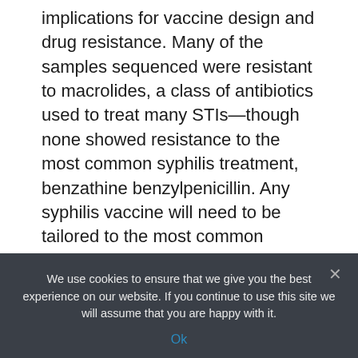implications for vaccine design and drug resistance. Many of the samples sequenced were resistant to macrolides, a class of antibiotics used to treat many STIs—though none showed resistance to the most common syphilis treatment, benzathine benzylpenicillin. Any syphilis vaccine will need to be tailored to the most common lineages of T. pallidum currently in circulation.
Source: Read Full Article
Related posts:
We use cookies to ensure that we give you the best experience on our website. If you continue to use this site we will assume that you are happy with it.
Ok